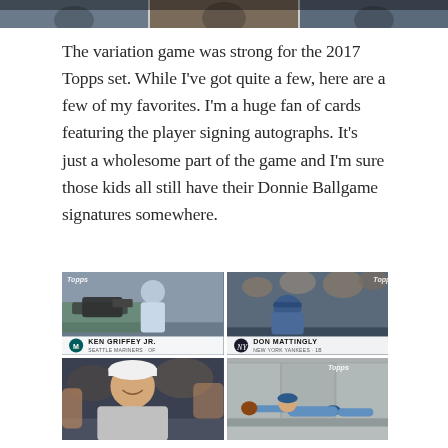[Figure (photo): Top strip showing partial baseball cards in a row]
The variation game was strong for the 2017 Topps set. While I've got quite a few, here are a few of my favorites. I'm a huge fan of cards featuring the player signing autographs. It's just a wholesome part of the game and I'm sure those kids all still have their Donnie Ballgame signatures somewhere.
[Figure (photo): Four 2017 Topps baseball cards in a 2x2 grid: Ken Griffey Jr. (Seattle Mariners, OF), Don Mattingly (New York Yankees, 1B), and two others - one showing a player smiling at camera, one showing a player diving for a catch]